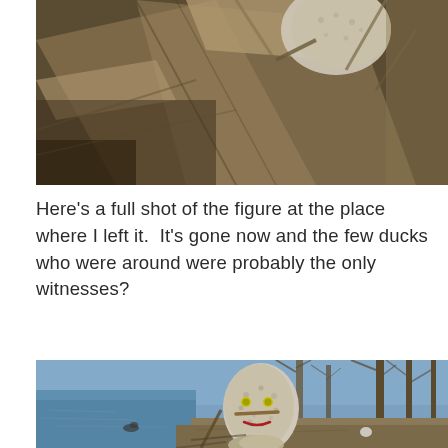[Figure (photo): Close-up photo of a stone/foam figure with textured surface and stick-like elements, nestled among wooden debris and sticks, viewed from above at close range. Brownish, earthy tones.]
Here's a full shot of the figure at the place where I left it.  It's gone now and the few ducks who were around were probably the only witnesses?
[Figure (photo): Full shot of a handmade figure made from a large textured stone/foam with yellow eyes (possibly tennis balls), a stick nose, and a red string mouth, positioned near a lake shore with bare winter trees and water visible in the background. A smaller stone sits at its base.]